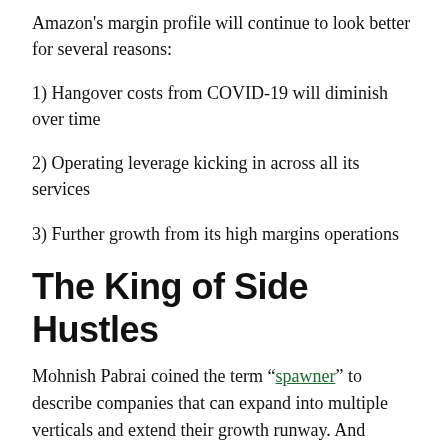Amazon’s margin profile will continue to look better for several reasons:
1) Hangover costs from COVID-19 will diminish over time
2) Operating leverage kicking in across all its services
3) Further growth from its high margins operations
The King of Side Hustles
Mohnish Pabrai coined the term “spawner” to describe companies that can expand into multiple verticals and extend their growth runway. And Amazon has been a best in class